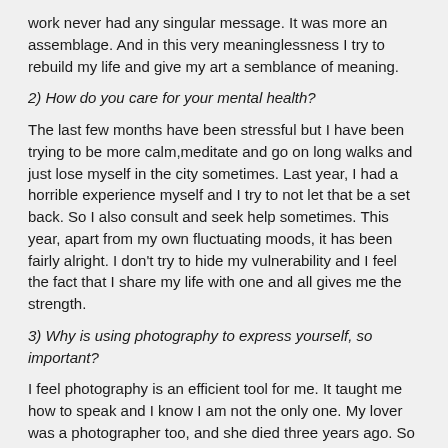work never had any singular message. It was more an assemblage. And in this very meaninglessness I try to rebuild my life and give my art a semblance of meaning.
2) How do you care for your mental health?
The last few months have been stressful but I have been trying to be more calm,meditate and go on long walks and just lose myself in the city sometimes. Last year, I had a horrible experience myself and I try to not let that be a set back. So I also consult and seek help sometimes. This year, apart from my own fluctuating moods, it has been fairly alright. I don't try to hide my vulnerability and I feel the fact that I share my life with one and all gives me the strength.
3) Why is using photography to express yourself, so important?
I feel photography is an efficient tool for me. It taught me how to speak and I know I am not the only one. My lover was a photographer too, and she died three years ago. So I feel, in a way, it is also